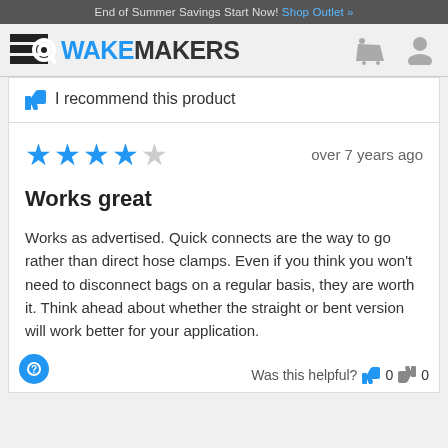End of Summer Savings Start Now! Shop Outlet »
[Figure (logo): WakeMakers logo with magnifying glass icon and shopping cart and user profile icons]
I recommend this product
★★★★☆  over 7 years ago
Works great
Works as advertised. Quick connects are the way to go rather than direct hose clamps. Even if you think you won't need to disconnect bags on a regular basis, they are worth it. Think ahead about whether the straight or bent version will work better for your application.
Was this helpful?  👍 0  👎 0